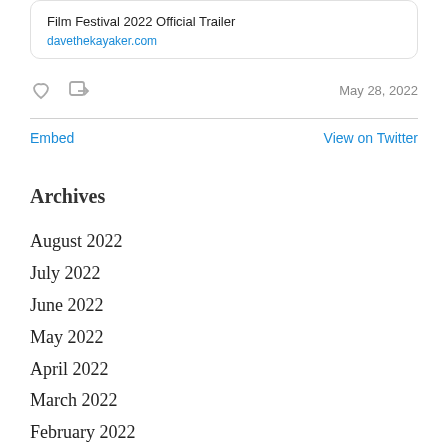Film Festival 2022 Official Trailer
davethekayaker.com
May 28, 2022
Embed   View on Twitter
Archives
August 2022
July 2022
June 2022
May 2022
April 2022
March 2022
February 2022
January 2022
December 2021
November 2021